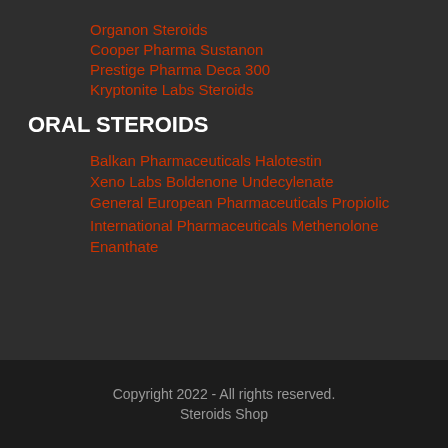Organon Steroids
Cooper Pharma Sustanon
Prestige Pharma Deca 300
Kryptonite Labs Steroids
ORAL STEROIDS
Balkan Pharmaceuticals Halotestin
Xeno Labs Boldenone Undecylenate
General European Pharmaceuticals Propiolic
International Pharmaceuticals Methenolone Enanthate
Copyright 2022 - All rights reserved.
Steroids Shop